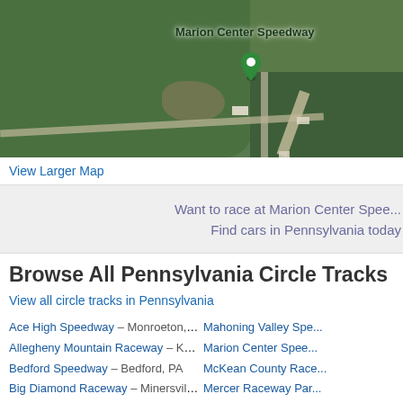[Figure (map): Satellite/aerial map view of Marion Center Speedway location with a green map pin marker and label 'Marion Center Speedway']
View Larger Map
Want to race at Marion Center Speedway? Find cars in Pennsylvania today
Browse All Pennsylvania Circle Tracks
View all circle tracks in Pennsylvania
Ace High Speedway – Monroeton, PA
Allegheny Mountain Raceway – Kane, PA
Bedford Speedway – Bedford, PA
Big Diamond Raceway – Minersville, PA
Mahoning Valley Speedway
Marion Center Speedway
McKean County Raceway
Mercer Raceway Park